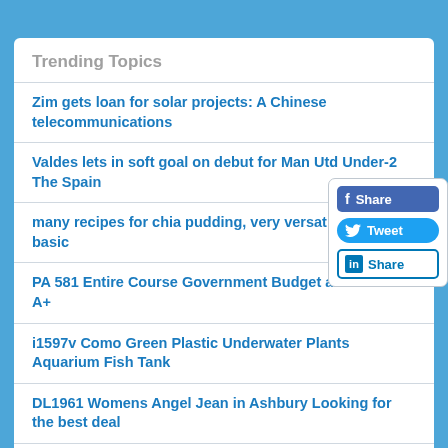Trending Topics
Zim gets loan for solar projects: A Chinese telecommunications
Valdes lets in soft goal on debut for Man Utd Under-2... The Spain
many recipes for chia pudding, very versatile. This is a basic
PA 581 Entire Course Government Budget and Finance A+
i1597v Como Green Plastic Underwater Plants Aquarium Fish Tank
DL1961 Womens Angel Jean in Ashbury Looking for the best deal
Tail Gator Tailgate Step Truck Bed Step Online Clearance Sales